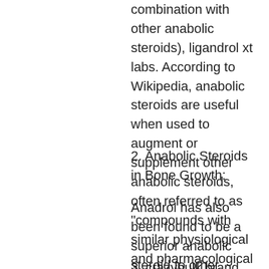combination with other anabolic steroids), ligandrol xt labs. According to Wikipedia, anabolic steroids are useful when used to augment or supplement other anabolic steroids, often referred to as "compounds with similar physiological and pharmacological activities", clenbuterol 6 week results. These drugs can also be more effective on specific types of muscles.
2. Anabolic Steroids in Bone Growth:
Anadrol has also been found to be a superior anabolic steroid to other anabolic steroids. The problem with Anadrol is that the majority of it's users report side effects from the drug. However, these side effects can be easily minimized by using proper dosing, hgh buy canada.
3. crazybulk brand. Anabolic Steroids in